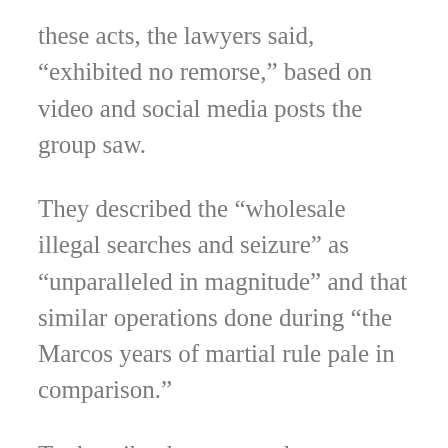these acts, the lawyers said, “exhibited no remorse,” based on video and social media posts the group saw.
They described the “wholesale illegal searches and seizure” as “unparalleled in magnitude” and that similar operations done during “the Marcos years of martial rule pale in comparison.”
To describe the supposed current situation in Marawi under martial rule, the group lifted from a statement of